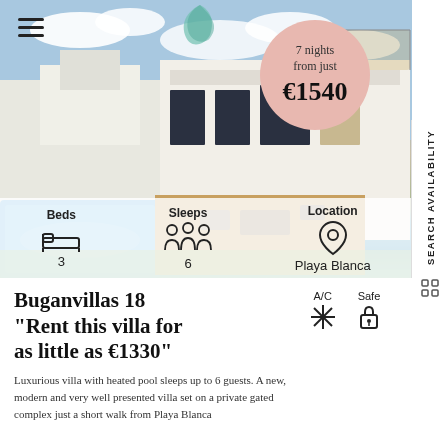[Figure (photo): Aerial/garden view of a modern white villa with swimming pool and outdoor terrace, blue sky with clouds]
7 nights from just €1540
Beds 3
Sleeps 6
Location Playa Blanca
Buganvillas 18 "Rent this villa for as little as €1330"
A/C
Safe
Luxurious villa with heated pool sleeps up to 6 guests. A new, modern and very well presented villa set on a private gated complex just a short walk from Playa Blanca
SEARCH AVAILABILITY